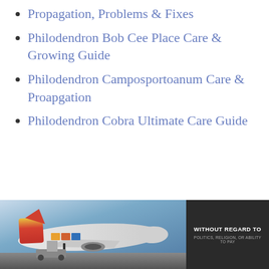Propagation, Problems & Fixes
Philodendron Bob Cee Place Care & Growing Guide
Philodendron Camposportoanum Care & Proapgation
Philodendron Cobra Ultimate Care Guide
[Figure (photo): Advertisement showing cargo being loaded onto a colorful airplane on a tarmac, with a dark banner on the right reading WITHOUT REGARD TO with smaller text below]